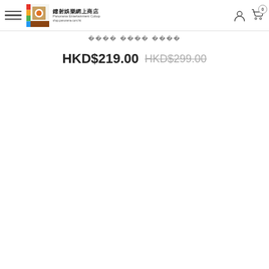鐳射娛樂網上商店 Panorama Entertainment Cobop shop.panorama.com.hk
HKD$219.00  HKD$299.00